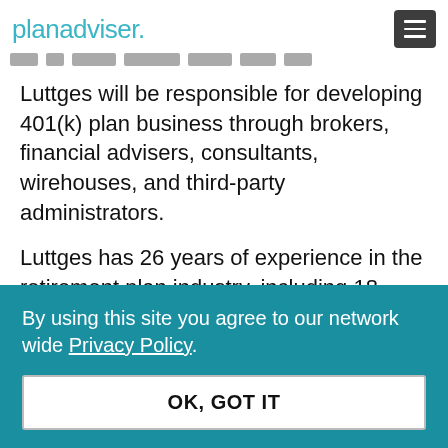planadviser.
Luttges will be responsible for developing 401(k) plan business through brokers, financial advisers, consultants, wirehouses, and third-party administrators.
Luttges has 26 years of experience in the retirement plan industry, including 18 spent at Great-West. He
By using this site you agree to our network wide Privacy Policy.
OK, GOT IT